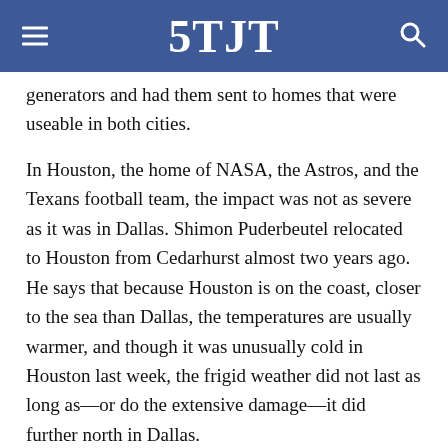5TJT
generators and had them sent to homes that were useable in both cities.
In Houston, the home of NASA, the Astros, and the Texans football team, the impact was not as severe as it was in Dallas. Shimon Puderbeutel relocated to Houston from Cedarhurst almost two years ago. He says that because Houston is on the coast, closer to the sea than Dallas, the temperatures are usually warmer, and though it was unusually cold in Houston last week, the frigid weather did not last as long as—or do the extensive damage—it did further north in Dallas.